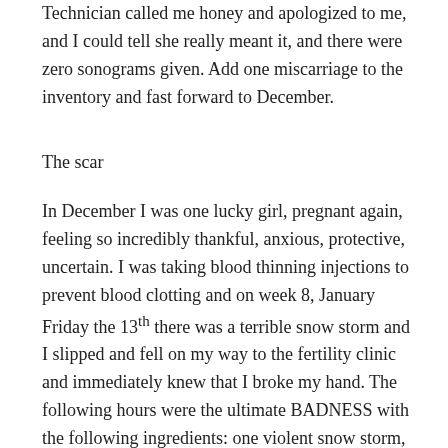Technician called me honey and apologized to me, and I could tell she really meant it, and there were zero sonograms given. Add one miscarriage to the inventory and fast forward to December.
The scar
In December I was one lucky girl, pregnant again, feeling so incredibly thankful, anxious, protective, uncertain. I was taking blood thinning injections to prevent blood clotting and on week 8, January Friday the 13th there was a terrible snow storm and I slipped and fell on my way to the fertility clinic and immediately knew that I broke my hand. The following hours were the ultimate BADNESS with the following ingredients: one violent snow storm, one swollen hand, lots tears and cold sweat, driving with my husband to three different hospitals to find one that treats hands (yes, I know) and above everything hovered one huge paralyzing fear of the consequences. And we learned that the baby